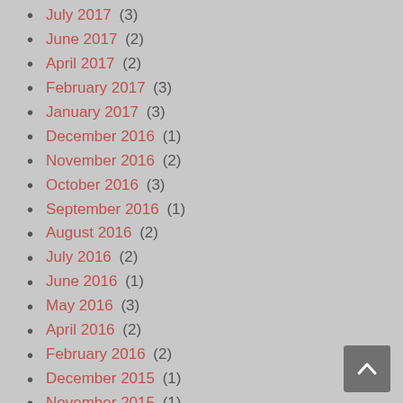July 2017 (3)
June 2017 (2)
April 2017 (2)
February 2017 (3)
January 2017 (3)
December 2016 (1)
November 2016 (2)
October 2016 (3)
September 2016 (1)
August 2016 (2)
July 2016 (2)
June 2016 (1)
May 2016 (3)
April 2016 (2)
February 2016 (2)
December 2015 (1)
November 2015 (1)
September 2015 (1)